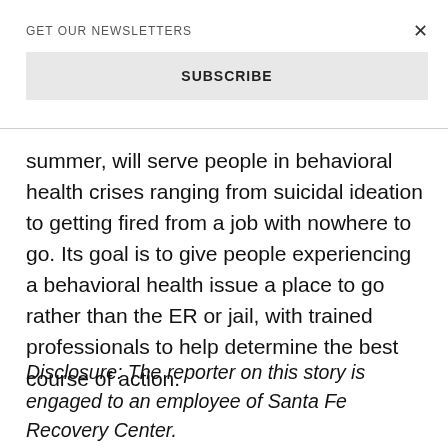GET OUR NEWSLETTERS
SUBSCRIBE
summer, will serve people in behavioral health crises ranging from suicidal ideation to getting fired from a job with nowhere to go. Its goal is to give people experiencing a behavioral health issue a place to go rather than the ER or jail, with trained professionals to help determine the best course of action.
Disclosure: The reporter on this story is engaged to an employee of Santa Fe Recovery Center.